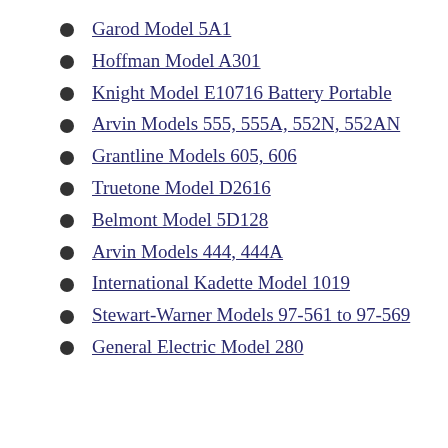Garod Model 5A1
Hoffman Model A301
Knight Model E10716 Battery Portable
Arvin Models 555, 555A, 552N, 552AN
Grantline Models 605, 606
Truetone Model D2616
Belmont Model 5D128
Arvin Models 444, 444A
International Kadette Model 1019
Stewart-Warner Models 97-561 to 97-569
General Electric Model 280